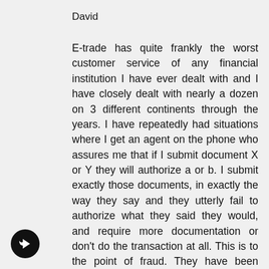David
E-trade has quite frankly the worst customer service of any financial institution I have ever dealt with and I have closely dealt with nearly a dozen on 3 different continents through the years. I have repeatedly had situations where I get an agent on the phone who assures me that if I submit document X or Y they will authorize a or b. I submit exactly those documents, in exactly the way they say and they utterly fail to authorize what they said they would, and require more documentation or don't do the transaction at all. This is to the point of fraud. They have been misprocessing my tax status for months